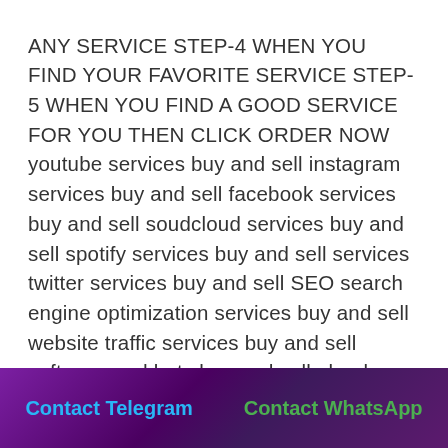ANY SERVICE STEP-4 WHEN YOU FIND YOUR FAVORITE SERVICE STEP-5 WHEN YOU FIND A GOOD SERVICE FOR YOU THEN CLICK ORDER NOW youtube services buy and sell instagram services buy and sell facebook services buy and sell soudcloud services buy and sell spotify services buy and sell services twitter services buy and sell SEO search engine optimization services buy and sell website traffic services buy and sell software and bots buy and sell ebooks and logos buy and sell anything you think you want to buy and sell here #seoclerks #seoclerk #fiverrvsseoclerks #seoclerksvsfiverr #earnmoneyfreelancer , buy likes seoclerks, buy
Contact Telegram    Contact WhatsApp